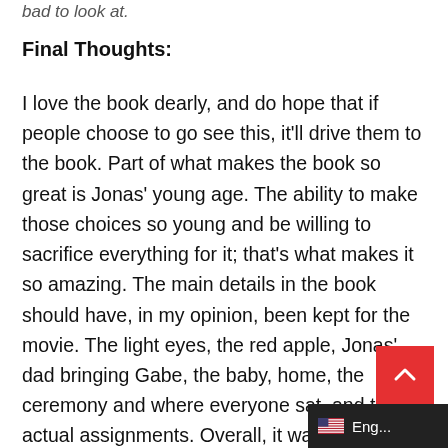bad to look at.
Final Thoughts:
I love the book dearly, and do hope that if people choose to go see this, it'll drive them to the book. Part of what makes the book so great is Jonas' young age. The ability to make those choices so young and be willing to sacrifice everything for it; that's what makes it so amazing. The main details in the book should have, in my opinion, been kept for the movie. The light eyes, the red apple, Jonas' dad bringing Gabe, the baby, home, the ceremony and where everyone sat, and the actual assignments. Overall, it wasn't the wors